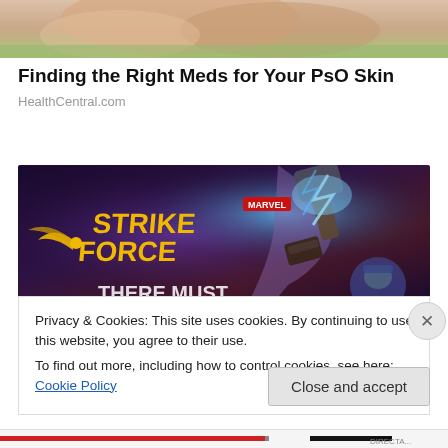[Figure (photo): Close-up of human skin (hand/arm area) with greenish background, partially cropped at top of page]
Finding the Right Meds for Your PsO Skin
HealthCentral.com
[Figure (photo): Marvel Strike Force game advertisement banner showing a character (Thor-like) wielding a hammer with lightning effects, dark purple/blue background, with text 'THERE MUST' partially visible at bottom]
Privacy & Cookies: This site uses cookies. By continuing to use this website, you agree to their use.
To find out more, including how to control cookies, see here: Cookie Policy
Close and accept